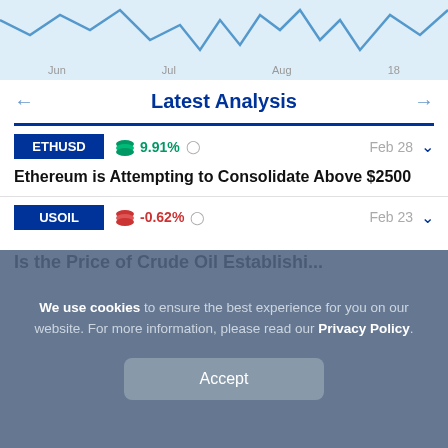[Figure (continuous-plot): Line chart showing price data with months Jun, Jul, Aug, 18 on x-axis. Blue line on light blue background showing volatile price movements.]
Latest Analysis
ETHUSD  9.91%  Feb 28
Ethereum is Attempting to Consolidate Above $2500
USOIL  -0.62%  Feb 23
We use cookies to ensure the best experience for you on our website. For more information, please read our Privacy Policy.
Accept